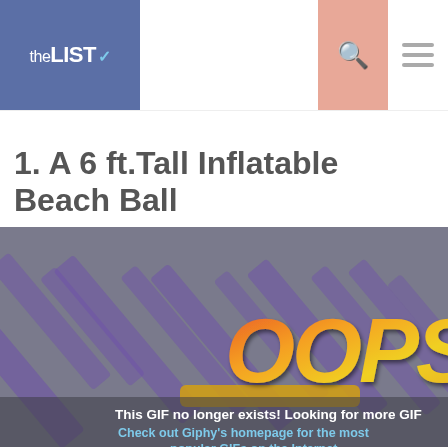theLIST
1. A 6 ft.Tall Inflatable Beach Ball
[Figure (screenshot): An animated GIF placeholder showing the word 'OOPS' in orange-yellow graffiti-style lettering on a dark gray background with purple diagonal stripes. Text overlay reads: 'This GIF no longer exists! Looking for more GIF' and 'Check out Giphy's homepage for the most popular GIFs on the Internet.']
This GIF no longer exists! Looking for more GIF
Check out Giphy's homepage for the most popular GIFs on the Internet.